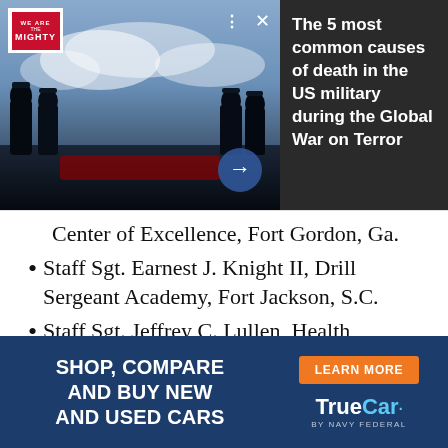[Figure (screenshot): Military funeral scene video thumbnail with We Are The Mighty logo overlay, controls, progress bar, and arrow button. Right panel shows article headline text.]
The 5 most common causes of death in the US military during the Global War on Terror
Center of Excellence, Fort Gordon, Ga.
Staff Sgt. Earnest J. Knight II, Drill Sergeant Academy, Fort Jackson, S.C.
Staff Sgt. Jeffrey C. Lullen, Health
[Figure (infographic): TrueCar advertisement: Shop, Compare and Buy New and Used Cars with Learn More button and TrueCar by Navy Federal logo]